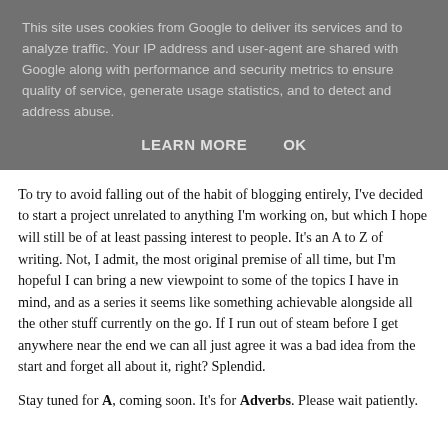This site uses cookies from Google to deliver its services and to analyze traffic. Your IP address and user-agent are shared with Google along with performance and security metrics to ensure quality of service, generate usage statistics, and to detect and address abuse.
LEARN MORE   OK
To try to avoid falling out of the habit of blogging entirely, I've decided to start a project unrelated to anything I'm working on, but which I hope will still be of at least passing interest to people. It's an A to Z of writing. Not, I admit, the most original premise of all time, but I'm hopeful I can bring a new viewpoint to some of the topics I have in mind, and as a series it seems like something achievable alongside all the other stuff currently on the go. If I run out of steam before I get anywhere near the end we can all just agree it was a bad idea from the start and forget all about it, right? Splendid.
Stay tuned for A, coming soon. It's for Adverbs. Please wait patiently.